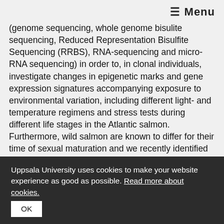☰ Menu
(genome sequencing, whole genome bisulite sequencing, Reduced Representation Bisulfite Sequencing (RRBS), RNA-sequencing and micro-RNA sequencing) in order to, in clonal individuals, investigate changes in epigenetic marks and gene expression signatures accompanying exposure to environmental variation, including different light- and temperature regimens and stress tests during different life stages in the Atlantic salmon. Furthermore, wild salmon are known to differ for their time of sexual maturation and we recently identified that genetic variation at a single locus, the vgll3 locus, acts as a major determinant for early- vs. late sexually maturation by sequencing the genomes of late- vs. early maturing individuals from rivers along the
Uppsala University uses cookies to make your website experience as good as possible. Read more about cookies.